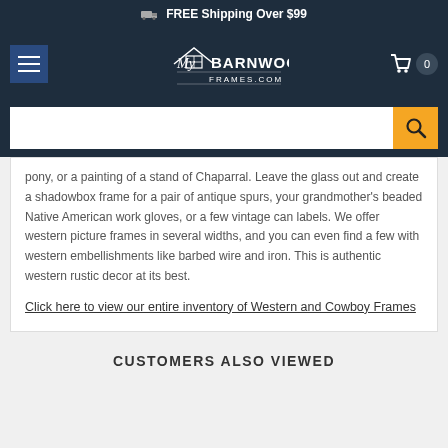FREE Shipping Over $99
[Figure (screenshot): MyBarnwoodFrames.com navigation bar with hamburger menu, logo, and cart icon showing 0 items]
[Figure (screenshot): Search input bar with orange search button]
pony, or a painting of a stand of Chaparral. Leave the glass out and create a shadowbox frame for a pair of antique spurs, your grandmother's beaded Native American work gloves, or a few vintage can labels. We offer western picture frames in several widths, and you can even find a few with western embellishments like barbed wire and iron. This is authentic western rustic decor at its best.
Click here to view our entire inventory of Western and Cowboy Frames
CUSTOMERS ALSO VIEWED